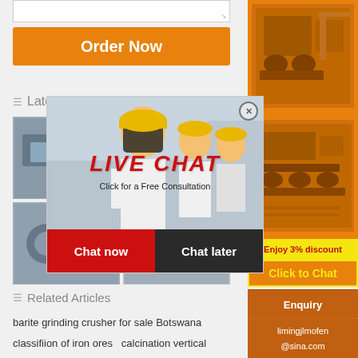[Figure (screenshot): Textarea input box at top of page]
Order Now
Latest Product
[Figure (photo): Live chat popup overlay with woman in yellow hard hat and team; LIVE CHAT heading in red italic; 'Click for a Free Consultation' subtitle; Chat now (red) and Chat later (dark) buttons; close button (X)]
[Figure (photo): Product thumbnail images: industrial machinery photos in a 2x2 grid]
[Figure (photo): Sidebar with orange background showing industrial machinery images]
Enjoy 3% discount
Click to Chat
Enquiry
limingjlmofen@sina.com
Related Articles
barite grinding crusher for sale Botswana
classifiion of iron ores  calcination vertical